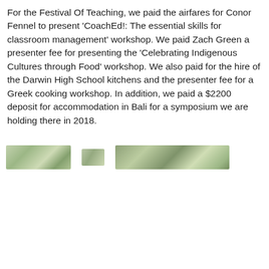For the Festival Of Teaching, we paid the airfares for Conor Fennel to present 'CoachEd!: The essential skills for classroom management' workshop. We paid Zach Green a presenter fee for presenting the 'Celebrating Indigenous Cultures through Food' workshop. We also paid for the hire of the Darwin High School kitchens and the presenter fee for a Greek cooking workshop. In addition, we paid a $2200 deposit for accommodation in Bali for a symposium we are holding there in 2018.
[Figure (photo): Two small landscape photos side by side: a small panoramic outdoor scene with greenery on the left, and a wider panoramic outdoor/tree scene on the right.]